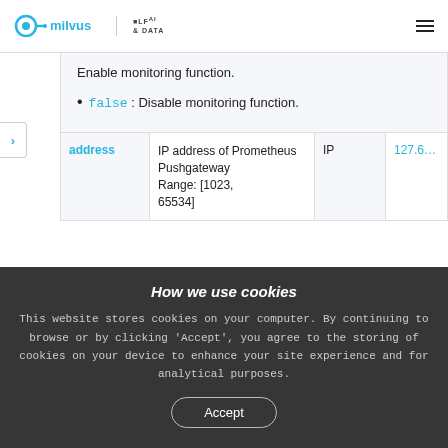milvus | LF AI & DATA
false : Disable monitoring function.
| address | IP address of Prometheus Pushgateway Range: [1023, 65534] | IP | 127.0.0.1:9091 |
| --- | --- | --- | --- |
How we use cookies
This website stores cookies on your computer. By continuing to browse or by clicking 'Accept', you agree to the storing of cookies on your device to enhance your site experience and for analytical purposes.